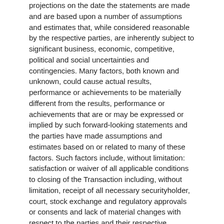projections on the date the statements are made and are based upon a number of assumptions and estimates that, while considered reasonable by the respective parties, are inherently subject to significant business, economic, competitive, political and social uncertainties and contingencies. Many factors, both known and unknown, could cause actual results, performance or achievements to be materially different from the results, performance or achievements that are or may be expressed or implied by such forward-looking statements and the parties have made assumptions and estimates based on or related to many of these factors. Such factors include, without limitation: satisfaction or waiver of all applicable conditions to closing of the Transaction including, without limitation, receipt of all necessary securityholder, court, stock exchange and regulatory approvals or consents and lack of material changes with respect to the parties and their respective businesses; the synergies expected from the Transaction not being realized; business integration risks; fluctuations in general macro-economic conditions; fluctuations in securities markets and the market price of Kootenay's shares; fluctuations in the spot and forward price of silver, base metals or certain other commodities; fluctuations in the currency markets (such as the Canadian dollar versus the U.S. dollar); changes in national and local